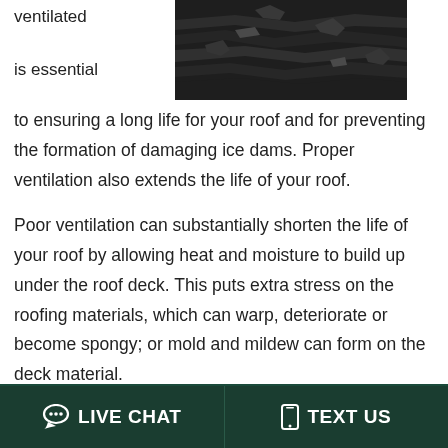ventilated
is essential
[Figure (photo): Close-up photo of damaged dark roof shingles that are warped and deteriorating]
to ensuring a long life for your roof and for preventing the formation of damaging ice dams. Proper ventilation also extends the life of your roof.
Poor ventilation can substantially shorten the life of your roof by allowing heat and moisture to build up under the roof deck. This puts extra stress on the roofing materials, which can warp, deteriorate or become spongy; or mold and mildew can form on the deck material.
Stop Ice Dams with Ventilation
LIVE CHAT   TEXT US